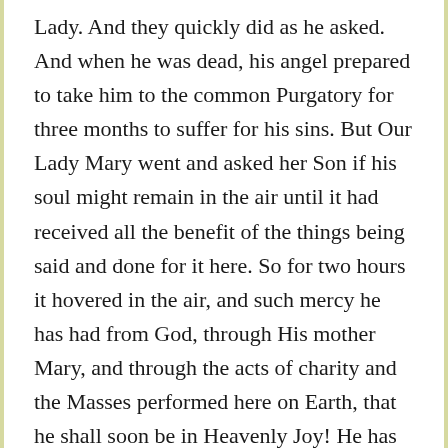Lady. And they quickly did as he asked. And when he was dead, his angel prepared to take him to the common Purgatory for three months to suffer for his sins. But Our Lady Mary went and asked her Son if his soul might remain in the air until it had received all the benefit of the things being said and done for it here. So for two hours it hovered in the air, and such mercy he has had from God, through His mother Mary, and through the acts of charity and the Masses performed here on Earth, that he shall soon be in Heavenly Joy! He has only to spend from now until tomorrow morning in pain!'
'Which things are the most efficacious, in this regard?' asked the prior.